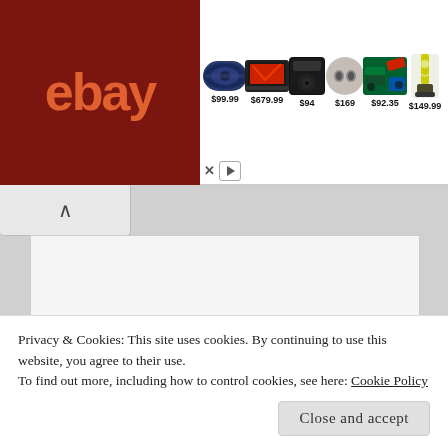[Figure (screenshot): eBay advertisement banner showing logo and 6 products with prices: Bluetooth speaker $99.99, laptop $679.99, speaker $94, earbuds $169, tool set $92.35, vacuum $149.99. Below are X and play button controls.]
[Figure (screenshot): USFamilyGuide.com logo with cartoon sun and red fish on blue background]
Privacy & Cookies: This site uses cookies. By continuing to use this website, you agree to their use.
To find out more, including how to control cookies, see here: Cookie Policy
Close and accept